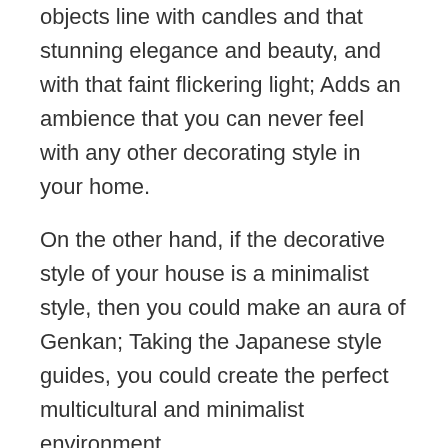objects line with candles and that stunning elegance and beauty, and with that faint flickering light; Adds an ambience that you can never feel with any other decorating style in your home.
On the other hand, if the decorative style of your house is a minimalist style, then you could make an aura of Genkan; Taking the Japanese style guides, you could create the perfect multicultural and minimalist environment.
Economic elements to decorate the hallway
The economy is something very important to